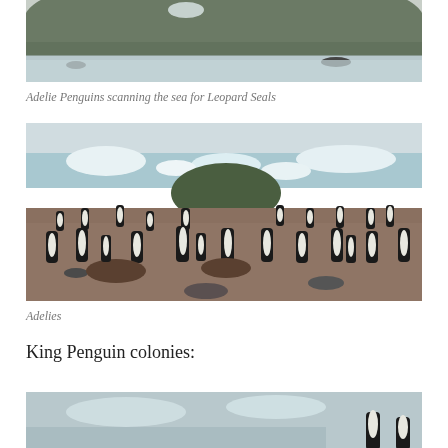[Figure (photo): Partial top photo showing rocky Antarctic shoreline with water, rocks, and patches of snow/ice - cropped at top]
Adelie Penguins scanning the sea for Leopard Seals
[Figure (photo): Large colony of Adelie penguins on rocky ground with icebergs and ocean in the background]
Adelies
King Penguin colonies:
[Figure (photo): Bottom of page partial photo showing penguins near water - cropped]